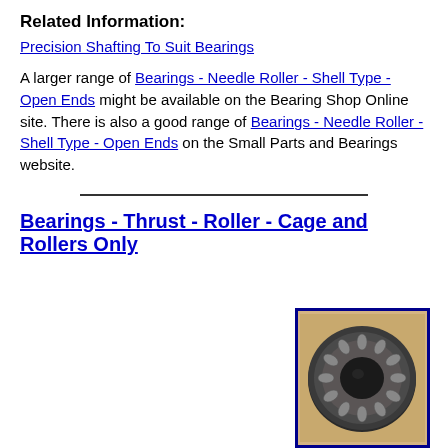Related Information:
Precision Shafting To Suit Bearings
A larger range of Bearings - Needle Roller - Shell Type - Open Ends might be available on the Bearing Shop Online site. There is also a good range of Bearings - Needle Roller - Shell Type - Open Ends on the Small Parts and Bearings website.
Bearings - Thrust - Roller - Cage and Rollers Only
[Figure (photo): Photo of a thrust roller bearing cage and rollers assembly, circular ring shape, dark metallic color, shown against a tan/beige background, inside a dark blue border frame.]